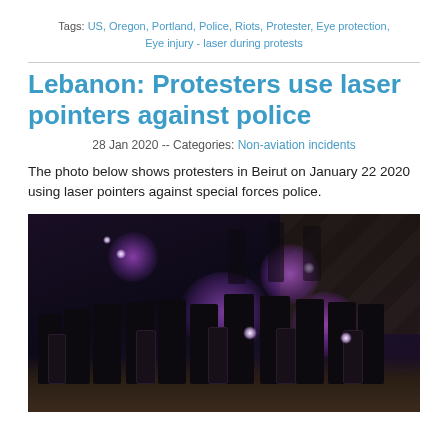Tags: US, Oregon, Portland, Police, Riots, Protester, Eye protection, Eye injury - laser during protests
Lebanon: Protesters use laser pointers against police
28 Jan 2020 -- Categories: Non-aviation incidents
The photo below shows protesters in Beirut on January 22 2020 using laser pointers against special forces police.
[Figure (photo): Night-time photograph showing riot police in full gear with shields illuminated by bright purple/magenta laser pointers shone by protesters in Beirut, Lebanon, January 22 2020.]